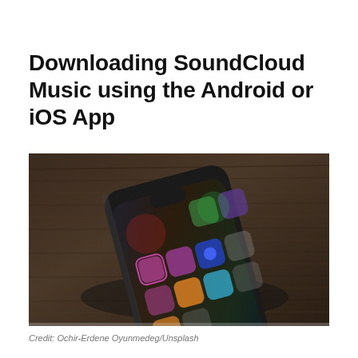Downloading SoundCloud Music using the Android or iOS App
[Figure (photo): A black smartphone lying flat on a dark wooden surface, screen showing a home screen with various app icons including social media apps.]
Credit: Ochir-Erdene Oyunmedeg/Unsplash